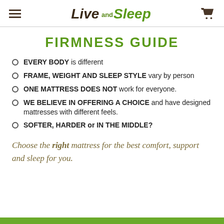Live and Sleep
FIRMNESS GUIDE
EVERY BODY is different
FRAME, WEIGHT AND SLEEP STYLE vary by person
ONE MATTRESS DOES NOT work for everyone.
WE BELIEVE IN OFFERING A CHOICE and have designed mattresses with different feels.
SOFTER, HARDER or IN THE MIDDLE?
Choose the right mattress for the best comfort, support and sleep for you.